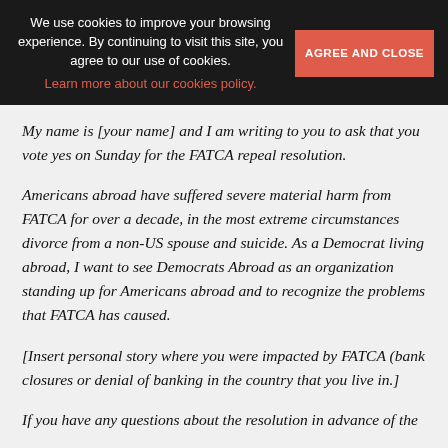We use cookies to improve your browsing experience. By continuing to visit this site, you agree to our use of cookies. Learn more about our cookies policy. AGREE AND CLOSE
My name is [your name] and I am writing to you to ask that you vote yes on Sunday for the FATCA repeal resolution.
Americans abroad have suffered severe material harm from FATCA for over a decade, in the most extreme circumstances divorce from a non-US spouse and suicide. As a Democrat living abroad, I want to see Democrats Abroad as an organization standing up for Americans abroad and to recognize the problems that FATCA has caused.
[Insert personal story where you were impacted by FATCA (bank closures or denial of banking in the country that you live in.]
If you have any questions about the resolution in advance of the